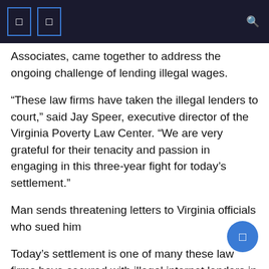Associates, came together to address the ongoing challenge of lending illegal wages.
“These law firms have taken the illegal lenders to court,” said Jay Speer, executive director of the Virginia Poverty Law Center. “We are very grateful for their tenacity and passion in engaging in this three-year fight for today’s settlement.”
Man sends threatening letters to Virginia officials who sued him
Today’s settlement is one of many these law firms have secured with illegal internet lenders in recent years, including a $433 million settlement in 2019.
The proposed settlement provides $450 million in consumer debt forgiveness that will be paid in cash for most consumers.